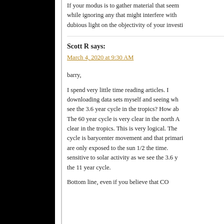If your modus is to gather material that seem… while ignoring any that might interfere with … dubious light on the objectivity of your investi…
Scott R says:
March 4, 2020 at 9:30 AM
barry,
I spend very little time reading articles. I… downloading data sets myself and seeing wh… see the 3.6 year cycle in the tropics? How ab… The 60 year cycle is very clear in the north A… clear in the tropics. This is very logical. The… cycle is barycenter movement and that primari… are only exposed to the sun 1/2 the time… sensitive to solar activity as we see the 3.6 y… the 11 year cycle.
Bottom line, even if you believe that CO…